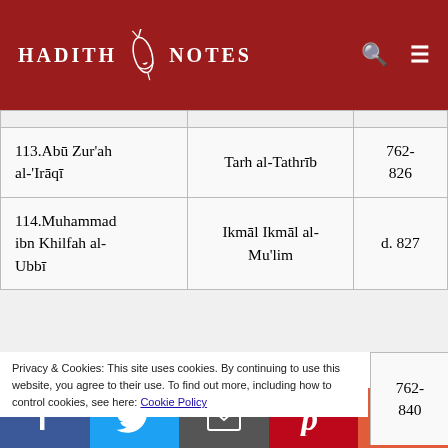HADITH NOTES
|  |  |  |
| --- | --- | --- |
| 113.Abū Zur'ah al-'Irāqī | Tarh al-Tathrīb | 762-826 |
| 114.Muhammad ibn Khilfah al-Ubbī | Ikmāl Ikmāl al-Muʿlim | d. 827 |
|  |  | 762-840 |
Privacy & Cookies: This site uses cookies. By continuing to use this website, you agree to their use. To find out more, including how to control cookies, see here: Cookie Policy